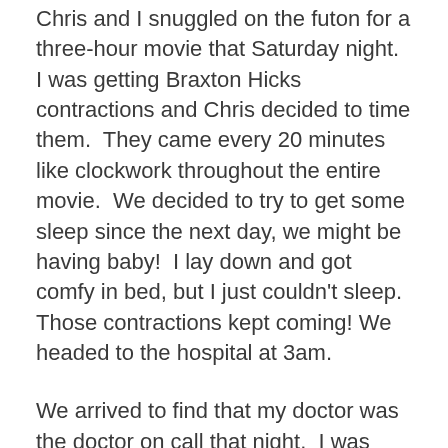Chris and I snuggled on the futon for a three-hour movie that Saturday night.  I was getting Braxton Hicks contractions and Chris decided to time them.  They came every 20 minutes like clockwork throughout the entire movie.  We decided to try to get some sleep since the next day, we might be having baby!  I lay down and got comfy in bed, but I just couldn't sleep.  Those contractions kept coming! We headed to the hospital at 3am.
We arrived to find that my doctor was the doctor on call that night.  I was thrilled, because I really liked him!  He said I was dilated 5 cm (only half way there), and without explaining or asking my permission, he pulled out something like a knitting needle and broke my water.  Experience has taught me to keep the bag of waters intact as long as possible.  Boy did the contractions